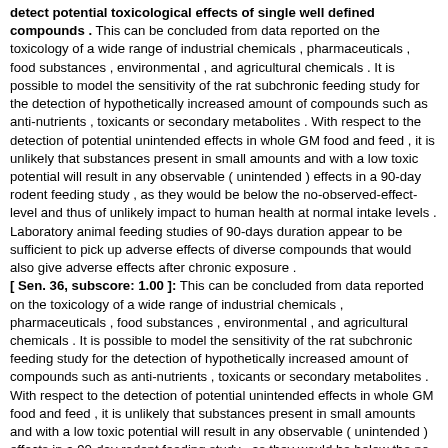detect potential toxicological effects of single well defined compounds . This can be concluded from data reported on the toxicology of a wide range of industrial chemicals , pharmaceuticals , food substances , environmental , and agricultural chemicals . It is possible to model the sensitivity of the rat subchronic feeding study for the detection of hypothetically increased amount of compounds such as anti-nutrients , toxicants or secondary metabolites . With respect to the detection of potential unintended effects in whole GM food and feed , it is unlikely that substances present in small amounts and with a low toxic potential will result in any observable ( unintended ) effects in a 90-day rodent feeding study , as they would be below the no-observed-effect-level and thus of unlikely impact to human health at normal intake levels . Laboratory animal feeding studies of 90-days duration appear to be sufficient to pick up adverse effects of diverse compounds that would also give adverse effects after chronic exposure . [ Sen. 36, subscore: 1.00 ]: This can be concluded from data reported on the toxicology of a wide range of industrial chemicals , pharmaceuticals , food substances , environmental , and agricultural chemicals . It is possible to model the sensitivity of the rat subchronic feeding study for the detection of hypothetically increased amount of compounds such as anti-nutrients , toxicants or secondary metabolites . With respect to the detection of potential unintended effects in whole GM food and feed , it is unlikely that substances present in small amounts and with a low toxic potential will result in any observable ( unintended ) effects in a 90-day rodent feeding study , as they would be below the no-observed-effect-level and thus of unlikely impact to human health at normal intake levels . Laboratory animal feeding studies of 90-days duration appear to be sufficient to pick up adverse effects of diverse compounds that would also give adverse effects after chronic exposure . This conclusion is based on literature data from studies